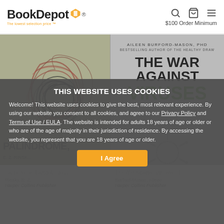[Figure (screenshot): BookDepot website header with logo, search icon, cart icon, hamburger menu icon, and '$100 Order Minimum' text]
[Figure (photo): Left book cover: abstract red and black ink swirls on cream background (Palindrome)]
[Figure (photo): Right book cover: 'The War Against Viruses' by Aileen Burford-Mason, PhD, white background with green 'VIRUSES' text]
THIS WEBSITE USES COOKIES

Welcome! This website uses cookies to give the best, most relevant experience. By using our website you consent to all cookies, and agree to our Privacy Policy and Terms of Use / EULA. The website is intended for adults 18 years of age or older or who are of the age of majority in their jurisdiction of residence. By accessing the website, you represent that you are 18 years of age or older.
Palindrome (Lamb & Lava... Rinsky, E. Z.
Harper Collins Publisher
The War Against Viruses: H... Burford-Mason, Aileen
Harper Collins Publisher